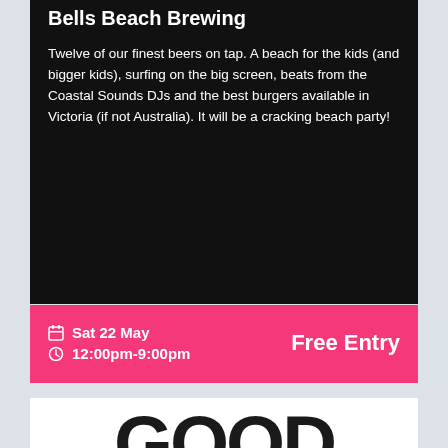Bells Beach Brewing
Twelve of our finest beers on tap. A beach for the kids (and bigger kids), surfing on the big screen, beats from the Coastal Sounds DJs and the best burgers available in Victoria (if not Australia). It will be a cracking beach party!
Sat 22 May  12:00pm-9:00pm  Free Entry
[Figure (logo): Good Beer Week logo in bold black lettering with TM trademark symbol]